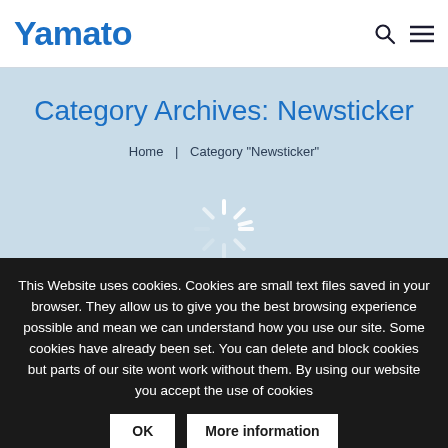Yamato
Category Archives: Newsticker
Home | Category "Newsticker"
[Figure (other): Loading spinner animation graphic (white radial spokes on light blue background)]
This Website uses cookies. Cookies are small text files saved in your browser. They allow us to give you the best browsing experience possible and mean we can understand how you use our site. Some cookies have already been set. You can delete and block cookies but parts of our site wont work without them. By using our website you accept the use of cookies